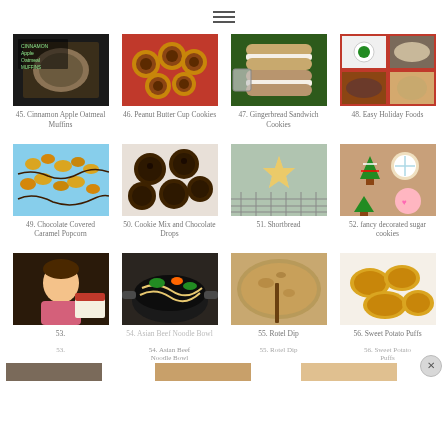[Figure (screenshot): Food blog grid page showing numbered food recipe thumbnails with titles. Rows of 4 images each. Items 45-56 visible plus partial row at bottom. Has hamburger menu icon at top center and close (X) button at bottom right.]
45. Cinnamon Apple Oatmeal Muffins
46. Peanut Butter Cup Cookies
47. Gingerbread Sandwich Cookies
48. Easy Holiday Foods
49. Chocolate Covered Caramel Popcorn
50. Cookie Mix and Chocolate Drops
51. Shortbread
52. fancy decorated sugar cookies
53.
54. Asian Beef Noodle Bowl
55. Rotel Dip
56. Sweet Potato Puffs